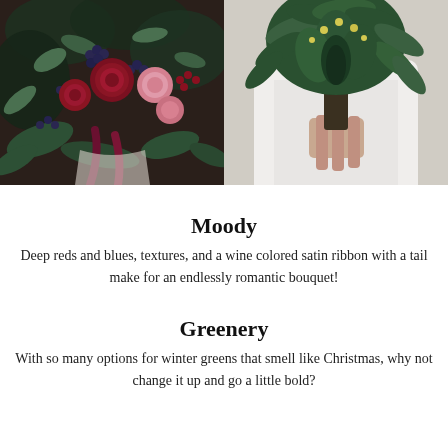[Figure (photo): Left photo: close-up of a moody bridal bouquet with deep reds, dark blues/berries, pink roses, eucalyptus, and a wine-colored satin ribbon tail against a dark background.]
[Figure (photo): Right photo: a person in a white dress holding a lush greenery bouquet with large leaves against a light background.]
Moody
Deep reds and blues, textures, and a wine colored satin ribbon with a tail make for an endlessly romantic bouquet!
Greenery
With so many options for winter greens that smell like Christmas, why not change it up and go a little bold?